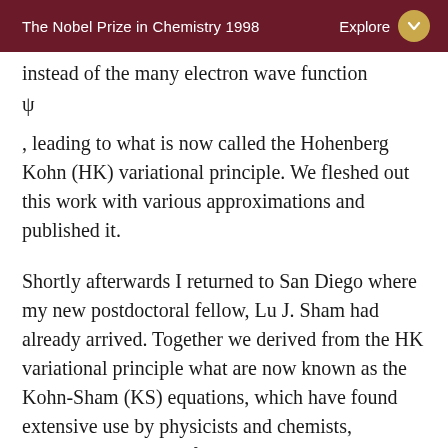The Nobel Prize in Chemistry 1998  Explore
instead of the many electron wave function
, leading to what is now called the Hohenberg Kohn (HK) variational principle. We fleshed out this work with various approximations and published it.
Shortly afterwards I returned to San Diego where my new postdoctoral fellow, Lu J. Sham had already arrived. Together we derived from the HK variational principle what are now known as the Kohn-Sham (KS) equations, which have found extensive use by physicists and chemists, including members of my group.
Since the 1970s I have also been working on the theory of surfaces, mostly electronic structure. The